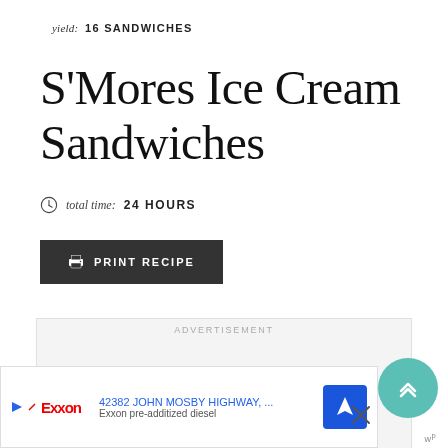yield: 16 SANDWICHES
S'Mores Ice Cream Sandwiches
total time: 24 HOURS
PRINT RECIPE
ADVERTISEMENT
[Figure (other): Bottom advertisement bar showing Exxon gas station: address 42382 JOHN MOSBY HIGHWAY, ... with Exxon logo, navigation icon, and Exxon pre-additized diesel text]